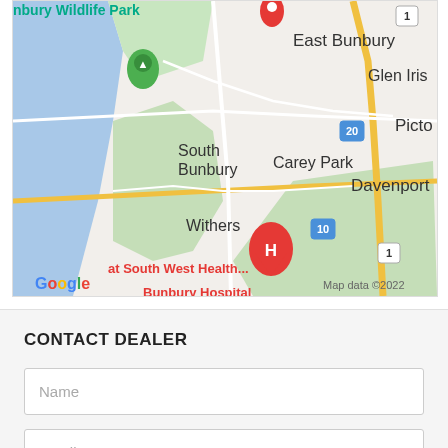[Figure (map): Google Maps screenshot showing Bunbury area in Western Australia. Shows East Bunbury, Glen Iris, South Bunbury, Carey Park, Withers, Davenport, Picto areas. A red hospital marker labeled H marks Bunbury Hospital at South West Health. A green park marker is visible. Road numbers 1, 10, 20 shown. Google logo and 'Map data ©2022' visible at bottom.]
CONTACT DEALER
Name
Email